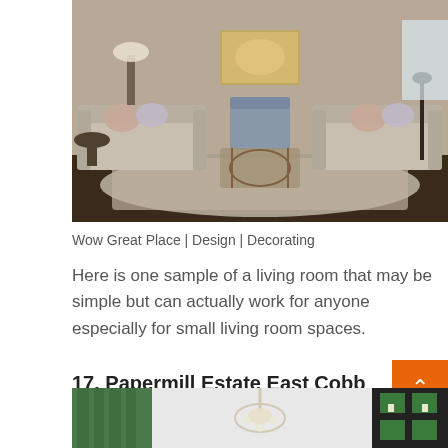[Figure (photo): Interior living room with two light beige sofas facing each other, a glass coffee table in the middle, a patterned area rug, and artwork above a console table in the background.]
Wow Great Place | Design | Decorating
Here is one sample of a living room that may be simple but can actually work for anyone especially for small living room spaces.
17. Papermill Estate East Cobb
[Figure (photo): Interior room with green patterned curtains, chandelier, and dark bookcase with green backing visible at the right edge.]